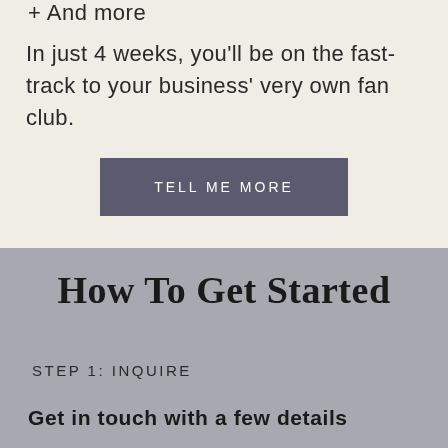+ And more
In just 4 weeks, you'll be on the fast-track to your business' very own fan club.
[Figure (other): Dark grey/slate button with white uppercase text reading 'TELL ME MORE']
How To Get Started
STEP 1: INQUIRE
Get in touch with a few details